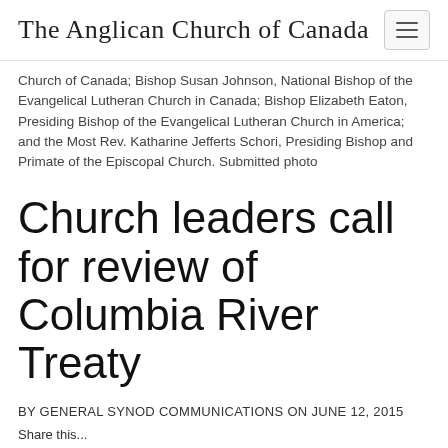The Anglican Church of Canada
Church of Canada; Bishop Susan Johnson, National Bishop of the Evangelical Lutheran Church in Canada; Bishop Elizabeth Eaton, Presiding Bishop of the Evangelical Lutheran Church in America; and the Most Rev. Katharine Jefferts Schori, Presiding Bishop and Primate of the Episcopal Church. Submitted photo
Church leaders call for review of Columbia River Treaty
BY GENERAL SYNOD COMMUNICATIONS ON JUNE 12, 2015
Share this...